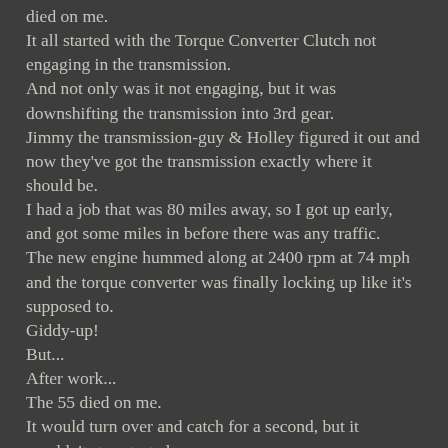died on me.
It all started with the Torque Converter Clutch not engaging in the transmission.
And not only was it not engaging, but it was downshifting the transmission into 3rd gear.
Jimmy the transmission-guy & Holley figured it out and now they've got the transmission exactly where it should be.
I had a job that was 80 miles away, so I got up early, and got some miles in before there was any traffic.
The new engine hummed along at 2400 rpm at 74 mph and the torque converter was finally locking up like it's supposed to.
Giddy-up!
But...
After work...
The 55 died on me.
It would turn over and catch for a second, but it wouldn't stay started.